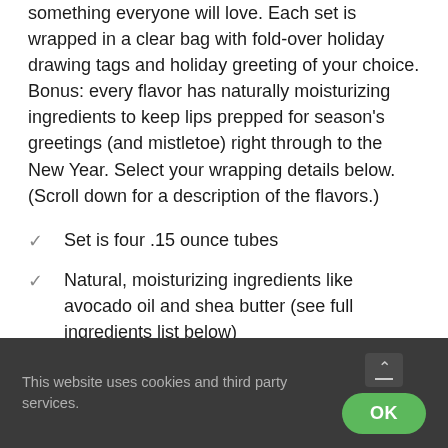something everyone will love. Each set is wrapped in a clear bag with fold-over holiday drawing tags and holiday greeting of your choice. Bonus: every flavor has naturally moisturizing ingredients to keep lips prepped for season's greetings (and mistletoe) right through to the New Year. Select your wrapping details below. (Scroll down for a description of the flavors.)
Set is four .15 ounce tubes
Natural, moisturizing ingredients like avocado oil and shea butter (see full ingredients list below)
This website uses cookies and third party services.